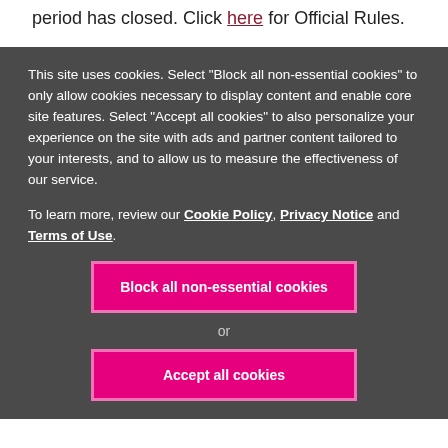period has closed. Click here for Official Rules.
This site uses cookies. Select "Block all non-essential cookies" to only allow cookies necessary to display content and enable core site features. Select "Accept all cookies" to also personalize your experience on the site with ads and partner content tailored to your interests, and to allow us to measure the effectiveness of our service.
To learn more, review our Cookie Policy, Privacy Notice and Terms of Use.
Block all non-essential cookies
or
Accept all cookies